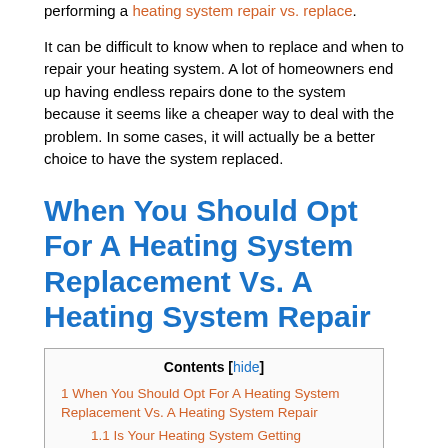performing a heating system repair vs. replace.
It can be difficult to know when to replace and when to repair your heating system. A lot of homeowners end up having endless repairs done to the system because it seems like a cheaper way to deal with the problem. In some cases, it will actually be a better choice to have the system replaced.
When You Should Opt For A Heating System Replacement Vs. A Heating System Repair
| Contents [hide] |
| --- |
| 1 When You Should Opt For A Heating System Replacement Vs. A Heating System Repair |
| 1.1 Is Your Heating System Getting |